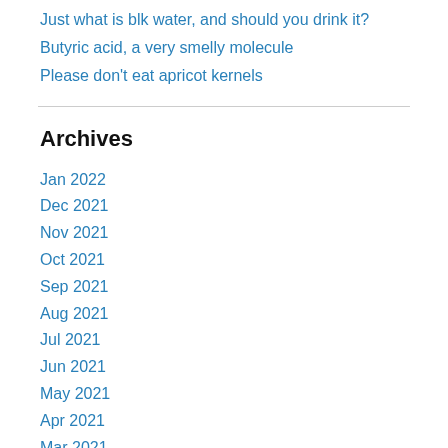Just what is blk water, and should you drink it?
Butyric acid, a very smelly molecule
Please don't eat apricot kernels
Archives
Jan 2022
Dec 2021
Nov 2021
Oct 2021
Sep 2021
Aug 2021
Jul 2021
Jun 2021
May 2021
Apr 2021
Mar 2021
Feb 2021
Jan 2021